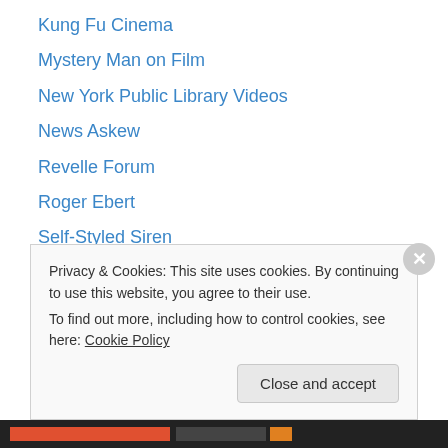Kung Fu Cinema
Mystery Man on Film
New York Public Library Videos
News Askew
Revelle Forum
Roger Ebert
Self-Styled Siren
Sergio Leone and the Infield Fly Rule
The Art of the Title Sequence
The Cooler
The Evening Class
The Projectionist
The Screengrab
Privacy & Cookies: This site uses cookies. By continuing to use this website, you agree to their use. To find out more, including how to control cookies, see here: Cookie Policy
Close and accept